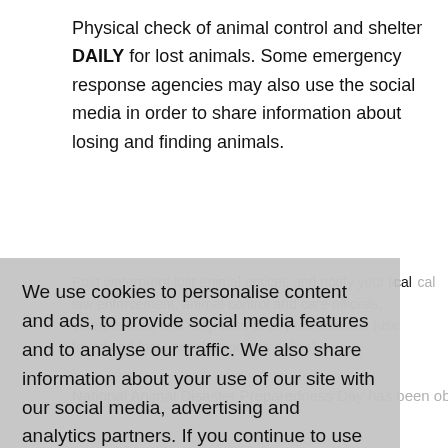Physical check of animal control and shelter DAILY for lost animals. Some emergency response agencies may also use the social media in order to share information about losing and finding animals.
Post waterproof lost animal notices and notify your local law enforcement, animal control and care officials, veterinarians, and neighbors of any lost animals (use found and lost animal resources online).
We use cookies to personalise content and ads, to provide social media features and to analyse our traffic. We also share information about your use of our site with our social media, advertising and analytics partners. If you continue to use this site we will assume that you are happy with it. More information.
Agree and close
Observed
National Animal Disaster Preparedness Day has been observed the second Saturday in May.